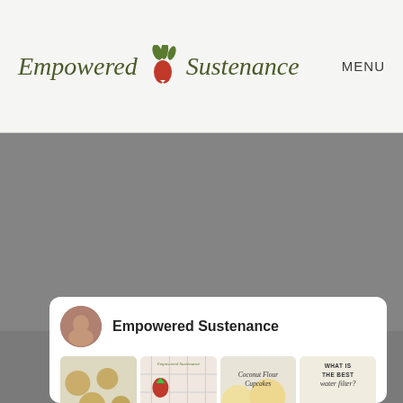Empowered Sustenance | MENU
[Figure (screenshot): Gray content area placeholder, likely an advertisement or loading area]
[Figure (screenshot): Pinterest-style card for Empowered Sustenance showing profile avatar, name, and a grid of 4 food/content images including paleo biscuits, strawberry desserts, coconut flour cupcakes, and a what is the best water filter card]